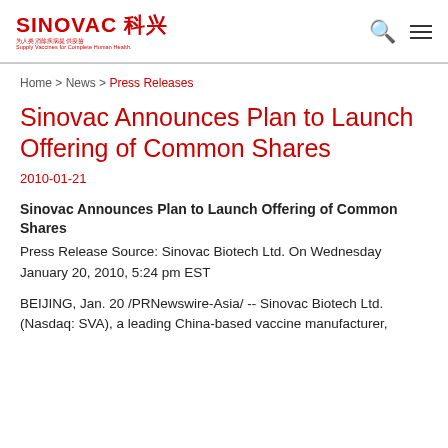SINOVAC 科兴 — for the health of all people, Sinovac Biotech Ltd.
Home > News > Press Releases
Sinovac Announces Plan to Launch Offering of Common Shares
2010-01-21
Sinovac Announces Plan to Launch Offering of Common Shares
Press Release Source: Sinovac Biotech Ltd. On Wednesday January 20, 2010, 5:24 pm EST
BEIJING, Jan. 20 /PRNewswire-Asia/ -- Sinovac Biotech Ltd. (Nasdaq: SVA), a leading China-based vaccine manufacturer,